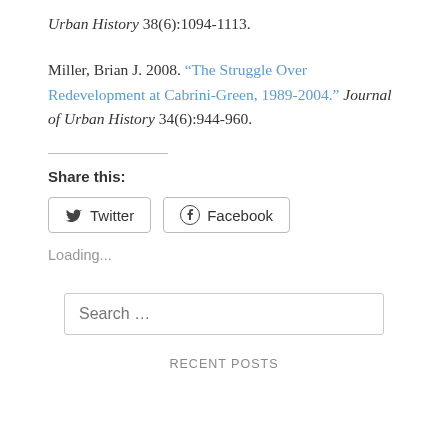Urban History 38(6):1094-1113.
Miller, Brian J. 2008. "The Struggle Over Redevelopment at Cabrini-Green, 1989-2004." Journal of Urban History 34(6):944-960.
Share this:
Twitter  Facebook
Loading...
Search …
RECENT POSTS